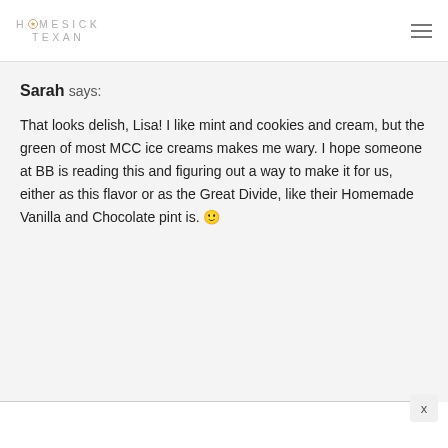HOMESICK TEXAN
Sarah says:
That looks delish, Lisa! I like mint and cookies and cream, but the green of most MCC ice creams makes me wary. I hope someone at BB is reading this and figuring out a way to make it for us, either as this flavor or as the Great Divide, like their Homemade Vanilla and Chocolate pint is. 🙂